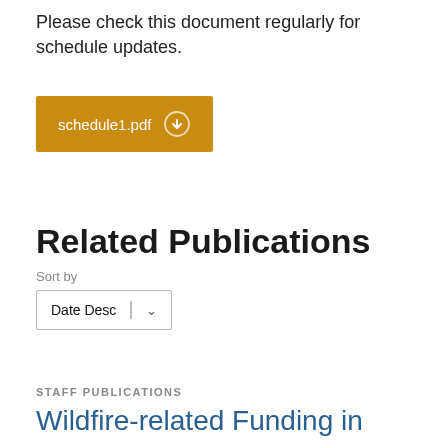Please check this document regularly for schedule updates.
[Figure (other): Orange button/link labeled 'schedule1.pdf' with a circular arrow icon]
Related Publications
Sort by
[Figure (other): Dropdown selector showing 'Date Desc' with a chevron/arrow icon]
STAFF PUBLICATIONS
Wildfire-related Funding in